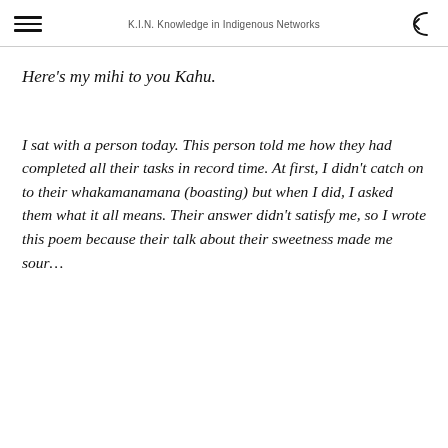K.I.N. Knowledge in Indigenous Networks
Here's my mihi to you Kahu.
I sat with a person today. This person told me how they had completed all their tasks in record time. At first, I didn't catch on to their whakamanamana (boasting) but when I did, I asked them what it all means. Their answer didn't satisfy me, so I wrote this poem because their talk about their sweetness made me sour…